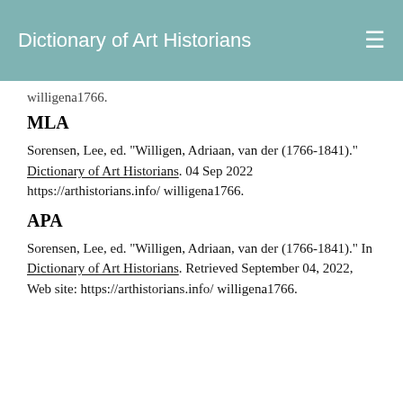Dictionary of Art Historians
willigena1766.
MLA
Sorensen, Lee, ed. "Willigen, Adriaan, van der (1766-1841)." Dictionary of Art Historians. 04 Sep 2022 https://arthistorians.info/willigena1766.
APA
Sorensen, Lee, ed. "Willigen, Adriaan, van der (1766-1841)." In Dictionary of Art Historians. Retrieved September 04, 2022, Web site: https://arthistorians.info/willigena1766.